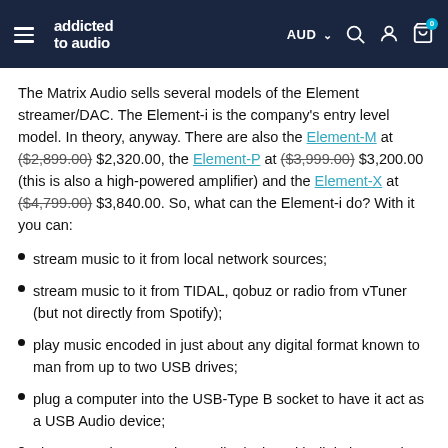addicted to audio — AUD — navigation icons
The Matrix Audio sells several models of the Element streamer/DAC. The Element-i is the company's entry level model. In theory, anyway. There are also the Element-M at ($2,899.00) $2,320.00, the Element-P at ($3,999.00) $3,200.00 (this is also a high-powered amplifier) and the Element-X at ($4,799.00) $3,840.00. So, what can the Element-i do? With it you can:
stream music to it from local network sources;
stream music to it from TIDAL, qobuz or radio from vTuner (but not directly from Spotify);
play music encoded in just about any digital format known to man from up to two USB drives;
plug a computer into the USB-Type B socket to have it act as a USB Audio device;
plug a CD player or other audio device with digital output into the coaxial and optical digital audio inputs for decoding;